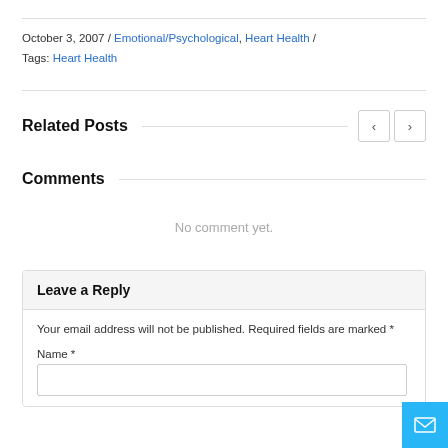October 3, 2007  /  Emotional/Psychological, Heart Health  /  Tags: Heart Health
Related Posts
Comments
No comment yet.
Leave a Reply
Your email address will not be published. Required fields are marked *
Name *